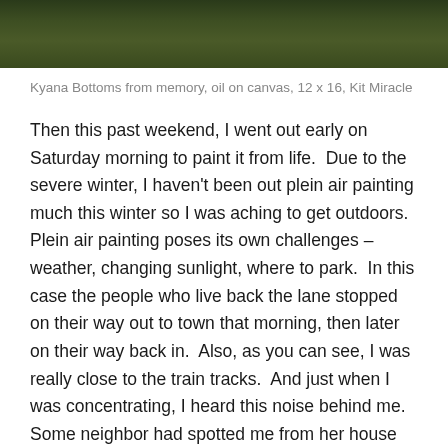[Figure (photo): Partial view of an oil painting showing a dark landscape with deep green and brown tones, bottom portion of the painting visible as a horizontal strip at the top of the page.]
Kyana Bottoms from memory, oil on canvas, 12 x 16, Kit Miracle
Then this past weekend, I went out early on Saturday morning to paint it from life.  Due to the severe winter, I haven't been out plein air painting much this winter so I was aching to get outdoors.  Plein air painting poses its own challenges – weather, changing sunlight, where to park.  In this case the people who live back the lane stopped on their way out to town that morning, then later on their way back in.  Also, as you can see, I was really close to the train tracks.  And just when I was concentrating, I heard this noise behind me.  Some neighbor had spotted me from her house but I hadn't heard her drive up due to the earphones I was wearing to